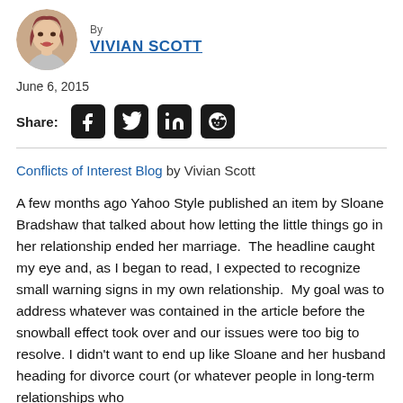By VIVIAN SCOTT
June 6, 2015
Share: [Facebook] [Twitter] [LinkedIn] [Reddit]
Conflicts of Interest Blog by Vivian Scott
A few months ago Yahoo Style published an item by Sloane Bradshaw that talked about how letting the little things go in her relationship ended her marriage.  The headline caught my eye and, as I began to read, I expected to recognize small warning signs in my own relationship.  My goal was to address whatever was contained in the article before the snowball effect took over and our issues were too big to resolve. I didn't want to end up like Sloane and her husband heading for divorce court (or whatever people in long-term relationships who